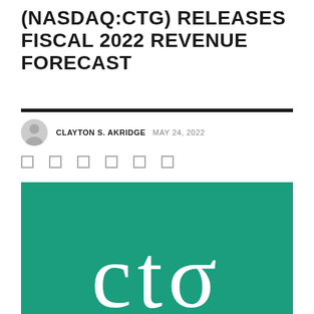(NASDAQ:CTG) RELEASES FISCAL 2022 REVENUE FORECAST
CLAYTON S. AKRIDGE  MAY 24, 2022
[Figure (logo): CTG company logo — white lowercase 'ctg' text with a sigma symbol on a teal/green background]